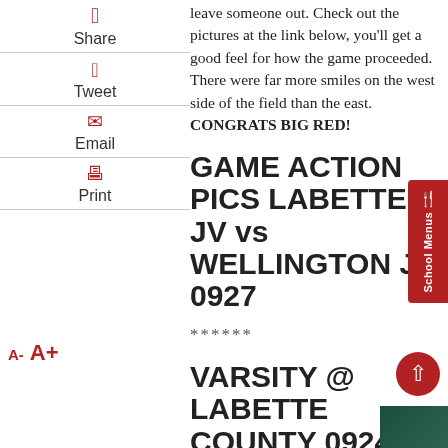leave someone out. Check out the pictures at the link below, you'll get a good feel for how the game proceeded. There were far more smiles on the west side of the field than the east. CONGRATS BIG RED!
GAME ACTION PICS LABETTE JV vs WELLINGTON JV 0927
******
VARSITY @ LABETTE COUNTY 092421